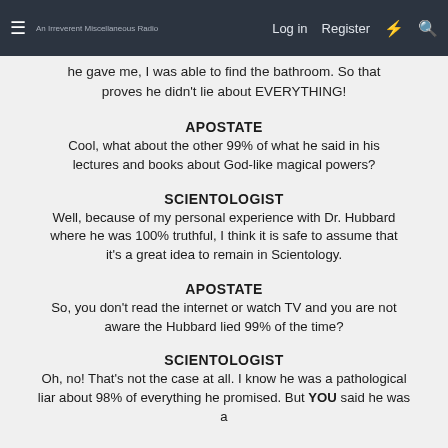Log in  Register
he gave me, I was able to find the bathroom. So that proves he didn't lie about EVERYTHING!
APOSTATE
Cool, what about the other 99% of what he said in his lectures and books about God-like magical powers?
SCIENTOLOGIST
Well, because of my personal experience with Dr. Hubbard where he was 100% truthful, I think it is safe to assume that it's a great idea to remain in Scientology.
APOSTATE
So, you don't read the internet or watch TV and you are not aware the Hubbard lied 99% of the time?
SCIENTOLOGIST
Oh, no! That's not the case at all. I know he was a pathological liar about 98% of everything he promised. But YOU said he was a